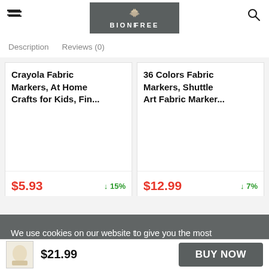BIONFREE
Description   Reviews (0)
Crayola Fabric Markers, At Home Crafts for Kids, Fin...
$5.93   ↓15%
36 Colors Fabric Markers, Shuttle Art Fabric Marker...
$12.99   ↓7%
We use cookies on our website to give you the most relevant experience by remembering your preferences and repeat visits.
$21.99   BUY NOW